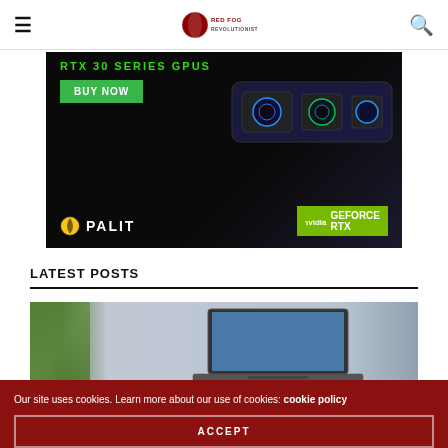≡  [Red Fog Revolutionist logo]  🔍
[Figure (photo): Palit NVIDIA GeForce RTX graphics cards advertisement with 'BUY NOW' button on dark background. RTX 30 Series GPUs visible.]
LATEST POSTS
[Figure (photo): Laptop computer on a desk, partial view showing screen and keyboard.]
Our site uses cookies. Learn more about our use of cookies: cookie policy
ACCEPT